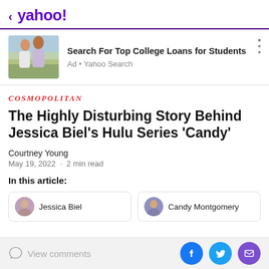< yahoo!
[Figure (infographic): Advertisement banner with photo of two happy young women hugging outdoors, next to text: Search For Top College Loans for Students, Ad • Yahoo Search]
COSMOPOLITAN
The Highly Disturbing Story Behind Jessica Biel's Hulu Series 'Candy'
Courtney Young
May 19, 2022 · 2 min read
In this article:
Jessica Biel
Candy Montgomery
View comments  [Facebook] [Twitter] [Mail]